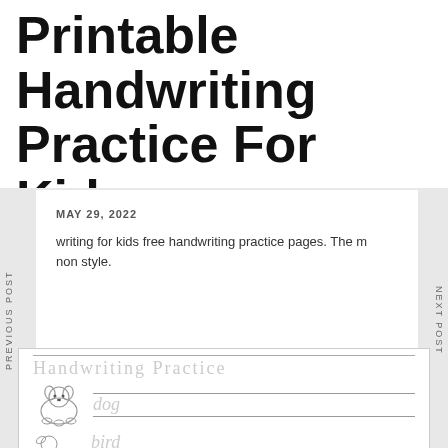Printable Handwriting Practice For Kids
MAY 29, 2022
writing for kids free handwriting practice pages. The m non style.
[Figure (illustration): A handwriting practice worksheet showing 'Handwriting Practice' as title with tracing lines, a cartoon dog illustration with the word 'dog' in dotted trace font, and a cartoon bird illustration with the word 'bird' in dotted trace font.]
PREVIOUS POST
NEXT POST